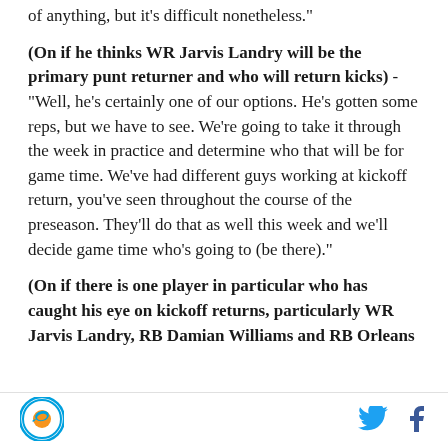of anything, but it's difficult nonetheless."
(On if he thinks WR Jarvis Landry will be the primary punt returner and who will return kicks) - "Well, he's certainly one of our options. He's gotten some reps, but we have to see. We're going to take it through the week in practice and determine who that will be for game time. We've had different guys working at kickoff return, you've seen throughout the course of the preseason. They'll do that as well this week and we'll decide game time who's going to (be there)."
(On if there is one player in particular who has caught his eye on kickoff returns, particularly WR Jarvis Landry, RB Damian Williams and RB Orleans
[Figure (logo): Miami Dolphins circular logo with dolphin and sun]
[Figure (other): Twitter bird icon in blue]
[Figure (other): Facebook f icon in dark blue]